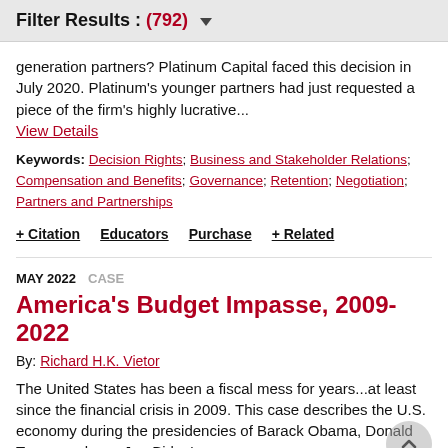Filter Results : (792)
generation partners? Platinum Capital faced this decision in July 2020. Platinum's younger partners had just requested a piece of the firm's highly lucrative... View Details
Keywords: Decision Rights; Business and Stakeholder Relations; Compensation and Benefits; Governance; Retention; Negotiation; Partners and Partnerships
+ Citation   Educators   Purchase   + Related
MAY 2022  CASE
America's Budget Impasse, 2009-2022
By: Richard H.K. Vietor
The United States has been a fiscal mess for years...at least since the financial crisis in 2009. This case describes the U.S. economy during the presidencies of Barack Obama, Donald Trump and now Joe Biden's